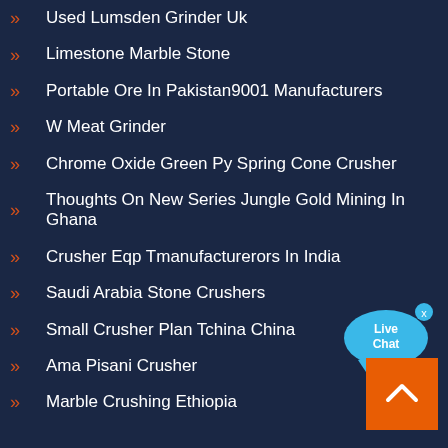Used Lumsden Grinder Uk
Limestone Marble Stone
Portable Ore In Pakistan9001 Manufacturers
W Meat Grinder
Chrome Oxide Green Py Spring Cone Crusher
Thoughts On New Series Jungle Gold Mining In Ghana
Crusher Eqp Tmanufacturerors In India
Saudi Arabia Stone Crushers
Small Crusher Plan Tchina China
Ama Pisani Crusher
Marble Crushing Ethiopia
[Figure (illustration): Live Chat button — a blue speech bubble with 'Live Chat' text and an x close button]